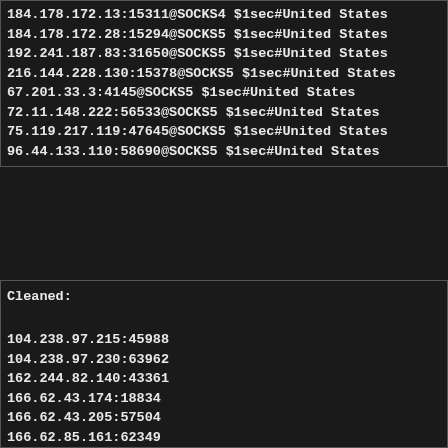184.178.172.13:15311@SOCKS4 $1sec#United States
184.178.172.28:15294@SOCKS5 $1sec#United States
192.241.187.83:31650@SOCKS5 $1sec#United States
216.144.228.130:15378@SOCKS5 $1sec#United States
67.201.33.3:4145@SOCKS5 $1sec#United States
72.11.148.222:56533@SOCKS5 $1sec#United States
75.119.217.119:47645@SOCKS5 $1sec#United States
96.44.133.110:58690@SOCKS5 $1sec#United States
Cleaned:

104.238.97.215:45988
104.238.97.230:63962
162.244.82.140:43361
166.62.43.174:18834
166.62.43.205:57504
166.62.85.161:62349
166.62.91.189:21616
166.62.91.189:56901
173.245.239.12:17145